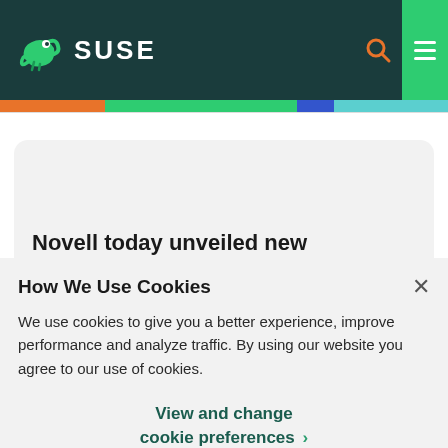SUSE
Novell today unveiled new
How We Use Cookies
We use cookies to give you a better experience, improve performance and analyze traffic. By using our website you agree to our use of cookies.
View and change cookie preferences >